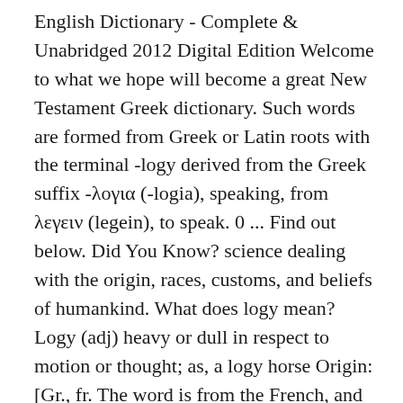English Dictionary - Complete & Unabridged 2012 Digital Edition Welcome to what we hope will become a great New Testament Greek dictionary. Such words are formed from Greek or Latin roots with the terminal -logy derived from the Greek suffix -λογια (-logia), speaking, from λεγειν (legein), to speak. 0 ... Find out below. Did You Know? science dealing with the origin, races, customs, and beliefs of humankind. What does logy mean? Logy (adj) heavy or dull in respect to motion or thought; as, a logy horse Origin: [Gr., fr. The word is from the French, and originally from the Latin. What's The Difference Between “Yule” And “Christmas”? The word blessed derives from